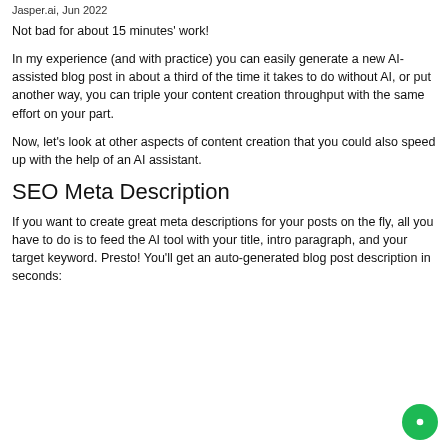Jasper.ai, Jun 2022
Not bad for about 15 minutes' work!
In my experience (and with practice) you can easily generate a new AI-assisted blog post in about a third of the time it takes to do without AI, or put another way, you can triple your content creation throughput with the same effort on your part.
Now, let's look at other aspects of content creation that you could also speed up with the help of an AI assistant.
SEO Meta Description
If you want to create great meta descriptions for your posts on the fly, all you have to do is to feed the AI tool with your title, intro paragraph, and your target keyword. Presto! You'll get an auto-generated blog post description in seconds: